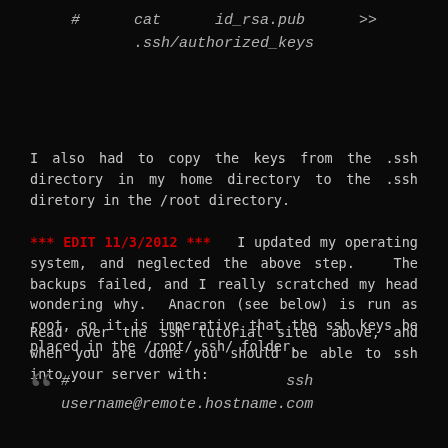# cat id_rsa.pub >> .ssh/authorized_keys
I also had to copy the keys from the .ssh directory in my home directory to the .ssh diretory in the /root directory.
*** EDIT 11/3/2012 ***  I updated my operating system, and neglected the above step.  The backups failed, and I really scratched my head wondering why.  Anacron (see below) is run as root, so it is imperative that the ssh keys be placed in the /root/.ssh/ folder.
Read over the ssh tutorial sited above, and when you are done you should be able to ssh into your server with:
# ssh username@remote.hostname.com